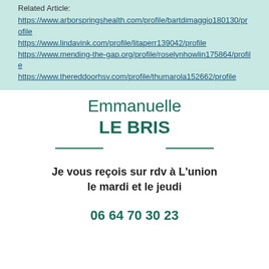Related Article:
https://www.arborspringshealth.com/profile/bartdimaggio180130/profile https://www.lindavink.com/profile/litaperr139042/profile https://www.mending-the-gap.org/profile/roselynhowlin175864/profile https://www.thereddoorhsv.com/profile/thumarola152662/profile
Emmanuelle LE BRIS
Je vous reçois sur rdv à L'union le mardi et le jeudi
06 64 70 30 23